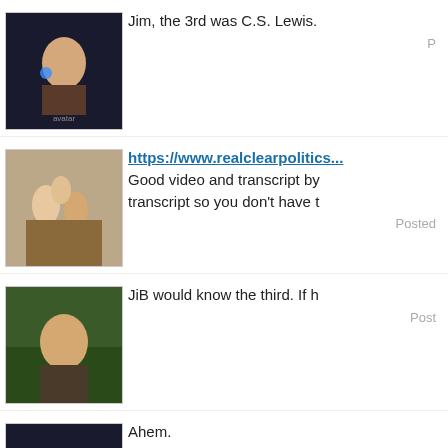[Figure (photo): User avatar - dark background with figure]
Jim, the 3rd was C.S. Lewis.
[Figure (photo): User avatar - vintage family photo]
https://www.realclearpolitics... Good video and transcript by transcript so you don't have t
[Figure (photo): User avatar - man outdoors with greenery]
JiB would know the third. If h
[Figure (photo): User avatar - dark background with figure]
Ahem.
[Figure (photo): User avatar - man outdoors with greenery]
finds it "odd" that everyone lo remained reluctant to make th
Is it the Fox Butterworth Effec